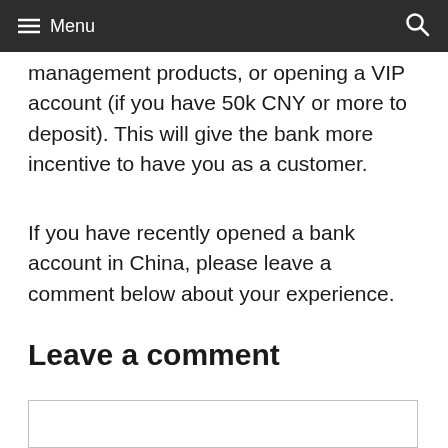≡ Menu
management products, or opening a VIP account (if you have 50k CNY or more to deposit). This will give the bank more incentive to have you as a customer.
If you have recently opened a bank account in China, please leave a comment below about your experience.
Leave a comment